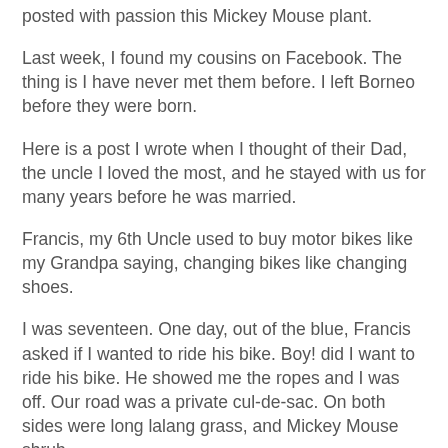posted with passion this Mickey Mouse plant.
Last week, I found my cousins on Facebook. The thing is I have never met them before. I left Borneo before they were born.
Here is a post I wrote when I thought of their Dad, the uncle I loved the most, and he stayed with us for many years before he was married.
Francis, my 6th Uncle used to buy motor bikes like my Grandpa saying, changing bikes like changing shoes.
I was seventeen. One day, out of the blue, Francis asked if I wanted to ride his bike. Boy! did I want to ride his bike. He showed me the ropes and I was off. Our road was a private cul-de-sac. On both sides were long lalang grass, and Mickey Mouse shrub.
I got on the bike with wind blowing in my face and zoomed. I wasn't very steady and before I knew it, I had crashed the bike to a Mickey Mouse bush. I fell and the bike landed on